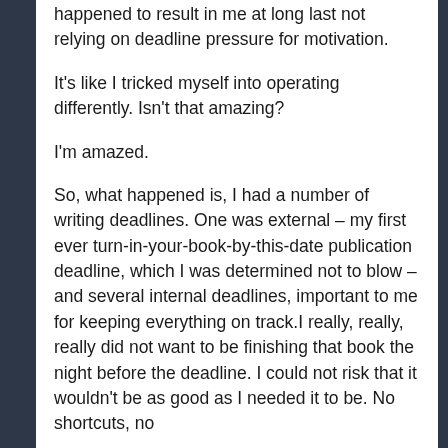happened to result in me at long last not relying on deadline pressure for motivation.

It's like I tricked myself into operating differently. Isn't that amazing?

I'm amazed.

So, what happened is, I had a number of writing deadlines. One was external – my first ever turn-in-your-book-by-this-date publication deadline, which I was determined not to blow – and several internal deadlines, important to me for keeping everything on track.I really, really, really did not want to be finishing that book the night before the deadline. I could not risk that it wouldn't be as good as I needed it to be. No shortcuts, no